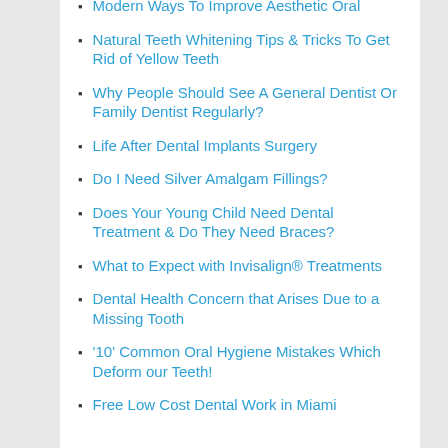Modern Ways To Improve Aesthetic Oral
Natural Teeth Whitening Tips & Tricks To Get Rid of Yellow Teeth
Why People Should See A General Dentist Or Family Dentist Regularly?
Life After Dental Implants Surgery
Do I Need Silver Amalgam Fillings?
Does Your Young Child Need Dental Treatment & Do They Need Braces?
What to Expect with Invisalign® Treatments
Dental Health Concern that Arises Due to a Missing Tooth
'10' Common Oral Hygiene Mistakes Which Deform our Teeth!
Free Low Cost Dental Work in Miami